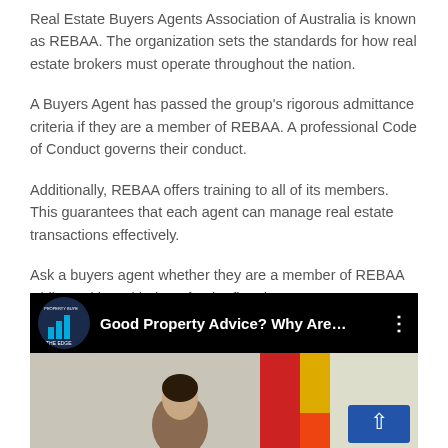Real Estate Buyers Agents Association of Australia is known as REBAA. The organization sets the standards for how real estate brokers must operate throughout the nation.
A Buyers Agent has passed the group's rigorous admittance criteria if they are a member of REBAA. A professional Code of Conduct governs their conduct.
Additionally, REBAA offers training to all of its members. This guarantees that each agent can manage real estate transactions effectively.
Ask a buyers agent whether they are a member of REBAA while working with them for the first time.
[Figure (screenshot): Video thumbnail showing 'Good Property Advice? Why Are...' with The Edge Property Buyers logo on black bar, and a person seated in front of colorful artwork]